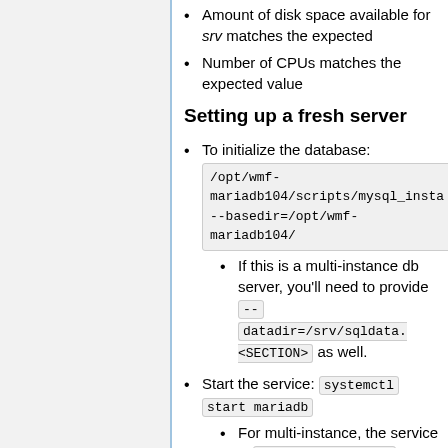Amount of disk space available for srv matches the expected
Number of CPUs matches the expected value
Setting up a fresh server
To initialize the database: /opt/wmf-mariadb104/scripts/mysql_insta --basedir=/opt/wmf-mariadb104/
If this is a multi-instance db server, you'll need to provide -- datadir=/srv/sqldata.<SECTION> as well.
Start the service: systemctl start mariadb
For multi-instance, the service is mariadb@<SECTION>